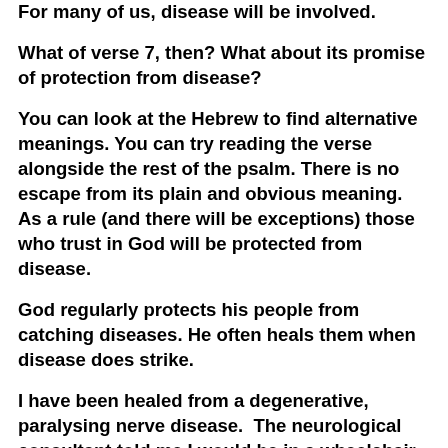For many of us, disease will be involved.
What of verse 7, then? What about its promise of protection from disease?
You can look at the Hebrew to find alternative meanings. You can try reading the verse alongside the rest of the psalm. There is no escape from its plain and obvious meaning. As a rule (and there will be exceptions) those who trust in God will be protected from disease.
God regularly protects his people from catching diseases. He often heals them when disease does strike.
I have been healed from a degenerative, paralysing nerve disease.  The neurological consultant told me I would be in a wheelchair by the time I was 25... I know some of you reading this reflection could tell similar stories.
You may remember that when we started